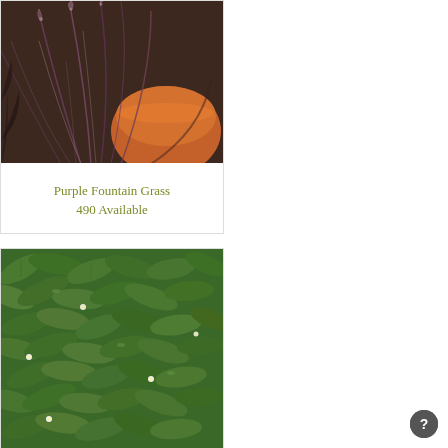[Figure (photo): Close-up photo of Purple Fountain Grass with feathery purple-brown plumes and an orange pot visible, ornamental grass arrangement]
Purple Fountain Grass
490 Available
[Figure (photo): Close-up photo of dense green leafy ground cover plant with small white flowers, possibly Murdannia or similar spreading plant]